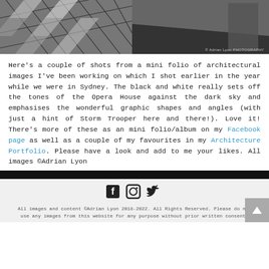[Figure (photo): Black and white architectural photograph showing geometric shapes and angles, likely Sydney Opera House, with angled geometric facets against a dark sky.]
Here's a couple of shots from a mini folio of architectural images I've been working on which I shot earlier in the year while we were in Sydney. The black and white really sets off the tones of the Opera House against the dark sky and emphasises the wonderful graphic shapes and angles (with just a hint of Storm Trooper here and there!). Love it! There's more of these as an mini folio/album on my Facebook page as well as a couple of my favourites in my Architecture Portfolio. Please have a look and add to me your likes. All images ©Adrian Lyon
[Figure (other): Social media icons: Facebook, Instagram, Twitter]
All images and content ©Adrian Lyon 2018-2022. All Rights Reserved. Please do not use any images from this website for any purpose without prior written consent.